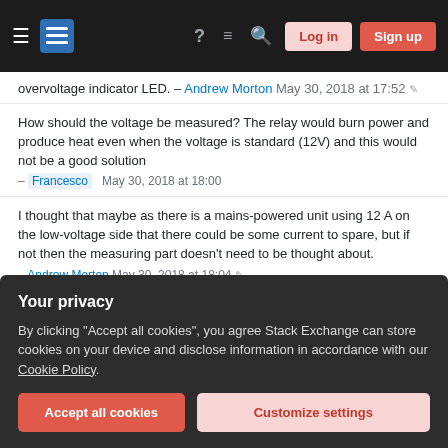Stack Exchange navigation bar with Log in and Sign up buttons
overvoltage indicator LED. – Andrew Morton May 30, 2018 at 17:52
How should the voltage be measured? The relay would burn power and produce heat even when the voltage is standard (12V) and this would not be a good solution – Francesco May 30, 2018 at 18:00
I thought that maybe as there is a mains-powered unit using 12 A on the low-voltage side that there could be some current to spare, but if not then the measuring part doesn't need to be thought about. – Andrew Morton May 30, 2018 at 18:04
If your design is AC powered one relay is probably not
Your privacy
By clicking "Accept all cookies", you agree Stack Exchange can store cookies on your device and disclose information in accordance with our Cookie Policy.
Accept all cookies   Customize settings
to the control card by default, and you could have an over voltage indicator to let the operator know what's